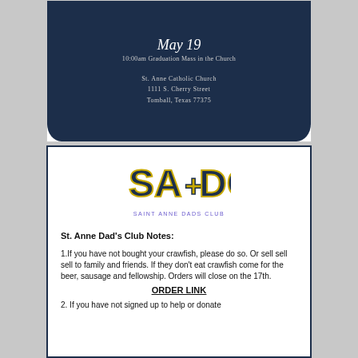[Figure (illustration): Dark navy invitation card with graduation mass details: 10:00am Graduation Mass in the Church, St. Anne Catholic Church, 1111 S. Cherry Street, Tomball, Texas 77375]
[Figure (logo): Saint Anne Dads Club logo styled like AC/DC logo: SA+DC in navy and gold letters with SAINT ANNE DADS CLUB below]
St. Anne Dad's Club Notes:
1.If you have not bought your crawfish, please do so. Or sell sell sell to family and friends. If they don't eat crawfish come for the beer, sausage and fellowship. Orders will close on the 17th. ORDER LINK
2. If you have not signed up to help or donate